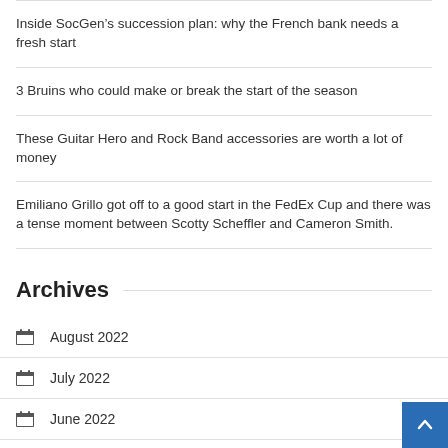Inside SocGen’s succession plan: why the French bank needs a fresh start
3 Bruins who could make or break the start of the season
These Guitar Hero and Rock Band accessories are worth a lot of money
Emiliano Grillo got off to a good start in the FedEx Cup and there was a tense moment between Scotty Scheffler and Cameron Smith.
Archives
August 2022
July 2022
June 2022
May 2022
April 2022